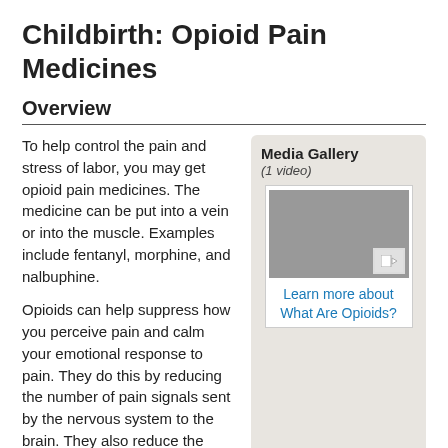Childbirth: Opioid Pain Medicines
Overview
To help control the pain and stress of labor, you may get opioid pain medicines. The medicine can be put into a vein or into the muscle. Examples include fentanyl, morphine, and nalbuphine.
[Figure (other): Media Gallery box with a video thumbnail placeholder (gray box with video icon) and a link reading 'Learn more about What Are Opioids?'. Caption above thumbnail reads 'Media Gallery (1 video)'.]
Opioids can help suppress how you perceive pain and calm your emotional response to pain. They do this by reducing the number of pain signals sent by the nervous system to the brain. They also reduce the brain's reaction to those pain signals.